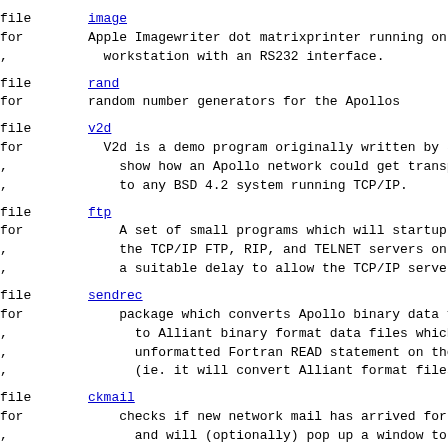file  image
for   Apple Imagewriter dot matrixprinter running on an
,     workstation with an RS232 interface.
file  rand
for   random number generators for the Apollos
file  v2d
for   V2d is a demo program originally written by Jim R
,     show how an Apollo network could get transparent t
,     to any BSD 4.2 system running TCP/IP.
file  ftp
for   A set of small programs which will startup
,     the TCP/IP FTP, RIP, and TELNET servers on the Apo
,     a suitable delay to allow the TCP/IP server to get
file  sendrec
for   package which converts Apollo binary data file (R
,     to Alliant binary format data files which can be
,     unformatted Fortran READ statement on the Allian
,     (ie. it will convert Alliant format files for re
file  ckmail
for   checks if new network mail has arrived for you on
,     and will (optionally) pop up a window to notify y
file  shar
for   does the same function as your BUNDLE shell scrip